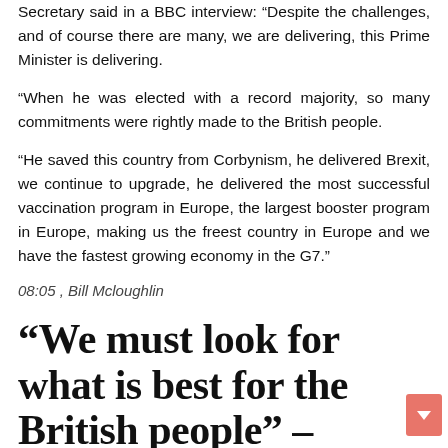Secretary said in a BBC interview: "Despite the challenges, and of course there are many, we are delivering, this Prime Minister is delivering.
“When he was elected with a record majority, so many commitments were rightly made to the British people.
“He saved this country from Corbynism, he delivered Brexit, we continue to upgrade, he delivered the most successful vaccination program in Europe, the largest booster program in Europe, making us the freest country in Europe and we have the fastest growing economy in the G7.”
08:05 , Bill Mcloughlin
“We must look for what is best for the British people” – Tory Townsell at